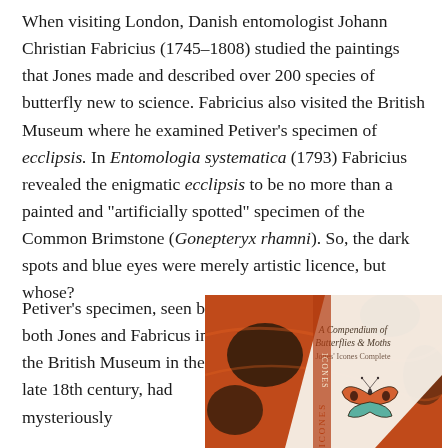When visiting London, Danish entomologist Johann Christian Fabricius (1745–1808) studied the paintings that Jones made and described over 200 species of butterfly new to science. Fabricius also visited the British Museum where he examined Petiver's specimen of ecclipsis. In Entomologia systematica (1793) Fabricius revealed the enigmatic ecclipsis to be no more than a painted and "artificially spotted" specimen of the Common Brimstone (Gonepteryx rhamni). So, the dark spots and blue eyes were merely artistic licence, but whose?
Petiver's specimen, seen by both Jones and Fabricus in the British Museum in the late 18th century, had mysteriously
[Figure (photo): Book cover of 'A Compendium of Butterflies & Moths: Jones' Icones Complete' showing a butterfly on an orange/brown background with the text ICONES on the spine]